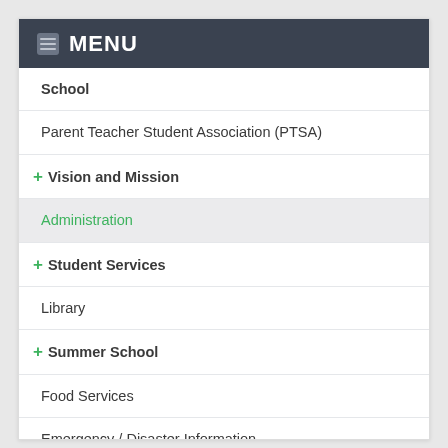MENU
School
Parent Teacher Student Association (PTSA)
+ Vision and Mission
Administration
+ Student Services
Library
+ Summer School
Food Services
Emergency / Disaster Information
+ Policies
Staff of the Month
+ Be Extraordinary